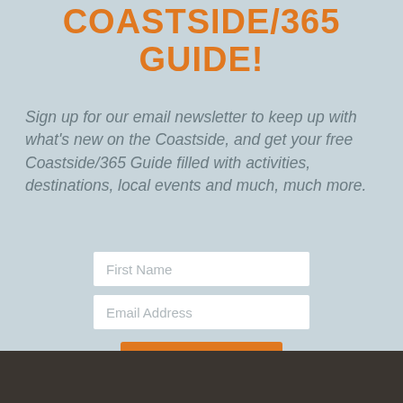COASTSIDE/365 GUIDE!
Sign up for our email newsletter to keep up with what's new on the Coastside, and get your free Coastside/365 Guide filled with activities, destinations, local events and much, much more.
[Figure (other): Email signup form with First Name field, Email Address field, and orange SEND IT! button]